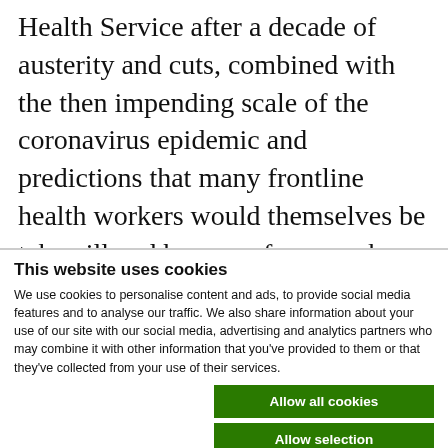Health Service after a decade of austerity and cuts, combined with the then impending scale of the coronavirus epidemic and predictions that many frontline health workers would themselves be taken ill and be away from work, the Government exhorted health care workers, retired
This website uses cookies
We use cookies to personalise content and ads, to provide social media features and to analyse our traffic. We also share information about your use of our site with our social media, advertising and analytics partners who may combine it with other information that you've provided to them or that they've collected from your use of their services.
Allow all cookies | Allow selection | Use necessary cookies only
Necessary | Preferences | Statistics | Marketing | Show details